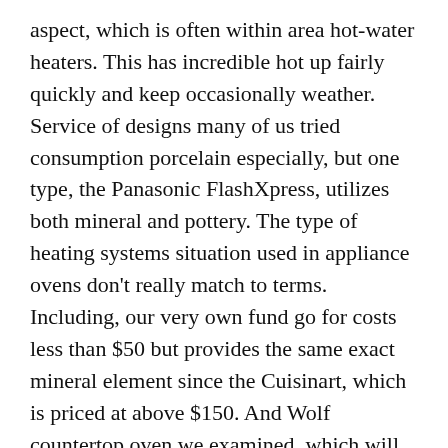aspect, which is often within area hot-water heaters. This has incredible hot up fairly quickly and keep occasionally weather. Service of designs many of us tried consumption porcelain especially, but one type, the Panasonic FlashXpress, utilizes both mineral and pottery. The type of heating systems situation used in appliance ovens don't really match to terms. Including, our very own fund go for costs less than $50 but provides the same exact mineral element since the Cuisinart, which is priced at above $150. And Wolf countertop oven we examined, which will set you back about $550, uses nichrome ingredients, that happen to be often found in less expensive products.
we all didn't consider convection a necessity option if we preferred styles to try.
Practical dimension: Most people evaluated a selection of appliance stoves in numerous sizes. Some individuals demand modest stove for plain undertaking like earning goner or baking treats and biscuits. People may opt